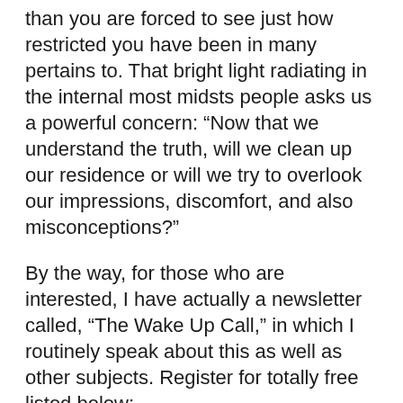than you are forced to see just how restricted you have been in many pertains to. That bright light radiating in the internal most midsts people asks us a powerful concern: “Now that we understand the truth, will we clean up our residence or will we try to overlook our impressions, discomfort, and also misconceptions?”
By the way, for those who are interested, I have actually a newsletter called, “The Wake Up Call,” in which I routinely speak about this as well as other subjects. Register for totally free listed below:
If you are starting on the spiritual path or feel like you have actually gotten a little lost, my ebook might be able to assist direct you: